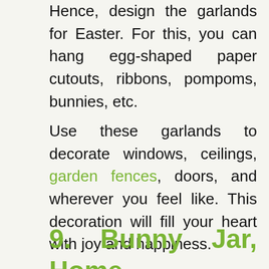Hence, design the garlands for Easter. For this, you can hang egg-shaped paper cutouts, ribbons, pompoms, bunnies, etc.
Use these garlands to decorate windows, ceilings, garden fences, doors, and wherever you feel like. This decoration will fill your heart with joy and happiness.
9. Bunny Jar, Home Decoration Ideas for